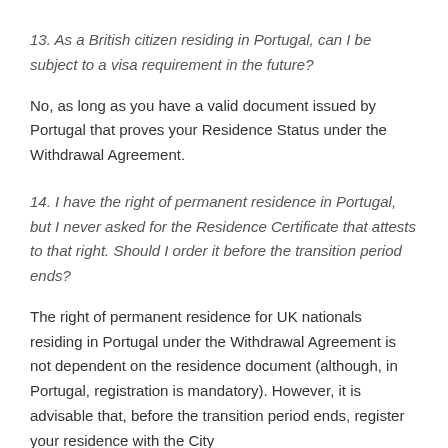13. As a British citizen residing in Portugal, can I be subject to a visa requirement in the future?
No, as long as you have a valid document issued by Portugal that proves your Residence Status under the Withdrawal Agreement.
14. I have the right of permanent residence in Portugal, but I never asked for the Residence Certificate that attests to that right. Should I order it before the transition period ends?
The right of permanent residence for UK nationals residing in Portugal under the Withdrawal Agreement is not dependent on the residence document (although, in Portugal, registration is mandatory). However, it is advisable that, before the transition period ends, register your residence with the City